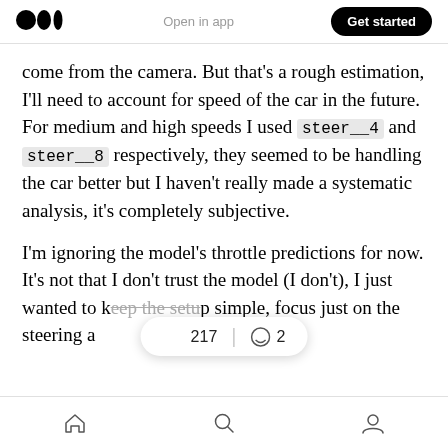Medium logo | Open in app | Get started
come from the camera. But that’s a rough estimation, I’ll need to account for speed of the car in the future. For medium and high speeds I used steer__4 and steer__8 respectively, they seemed to be handling the car better but I haven’t really made a systematic analysis, it’s completely subjective.
I’m ignoring the model’s throttle predictions for now. It’s not that I don’t trust the model (I don’t), I just wanted to keep the setup simple, focus just on the steering a
👏 217  💬 2